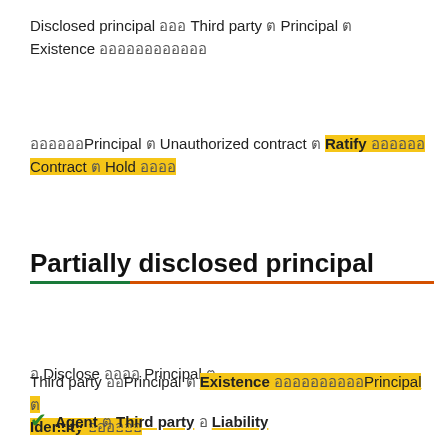Disclosed principal และ Third party ต Principal ต Existence ออออออออออออ
อออออPrincipal ต Unauthorized contract ต Ratify ออออออ Contract ต Hold ออออ
Partially disclosed principal
อ Disclose ออออ Principal ต
Third party ออPrincipal ต Existence ออออออออออPrincipal ต Identity ออออออ
✓ Agent ต Third party อ Liability
Partially disclosed principal อออAgent ต Third party ต